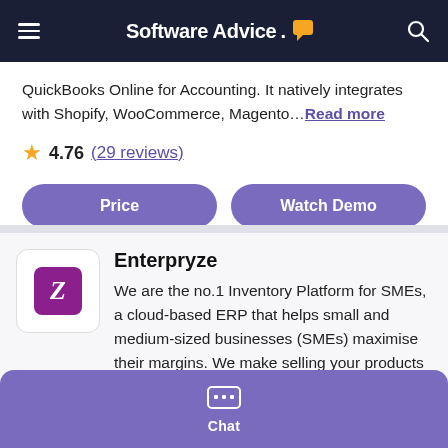Software Advice.
QuickBooks Online for Accounting. It natively integrates with Shopify, WooCommerce, Magento... Read more
4.76 (29 reviews)
Price
Watch Demo
Enterpryze
We are the no.1 Inventory Platform for SMEs, a cloud-based ERP that helps small and medium-sized businesses (SMEs) maximise their margins. We make selling your products easy with our
Chat